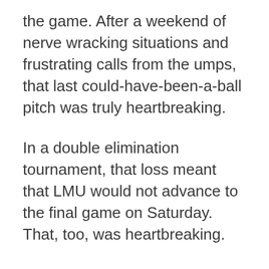the game. After a weekend of nerve wracking situations and frustrating calls from the umps, that last could-have-been-a-ball pitch was truly heartbreaking.
In a double elimination tournament, that loss meant that LMU would not advance to the final game on Saturday. That, too, was heartbreaking.
Seeing both teams on the field, one celebrating and one leaving dejectedly, I cried. I cried because LMU worked so